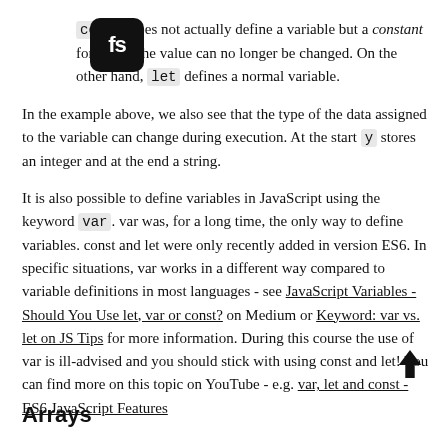[Figure (logo): Black rounded square icon with white 'fs' text]
const does not actually define a variable but a constant for which the value can no longer be changed. On the other hand, let defines a normal variable.
In the example above, we also see that the type of the data assigned to the variable can change during execution. At the start y stores an integer and at the end a string.
It is also possible to define variables in JavaScript using the keyword var. var was, for a long time, the only way to define variables. const and let were only recently added in version ES6. In specific situations, var works in a different way compared to variable definitions in most languages - see JavaScript Variables - Should You Use let, var or const? on Medium or Keyword: var vs. let on JS Tips for more information. During this course the use of var is ill-advised and you should stick with using const and let! You can find more on this topic on YouTube - e.g. var, let and const - ES6 JavaScript Features
Arrays